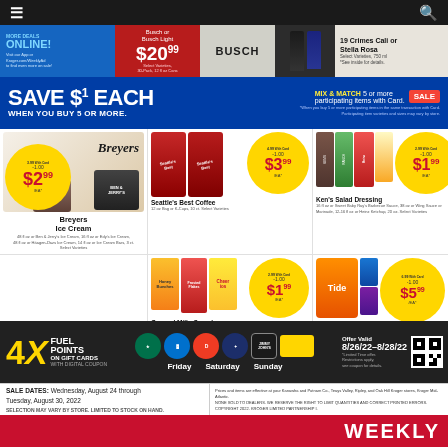Navigation bar with menu and search icons
[Figure (infographic): Kroger weekly ad banner: More Deals Online, Busch/Busch Light $20.99, 19 Crimes Cali or Stella Rosa]
[Figure (infographic): Save $1 Each when you buy 5 or more. Mix & Match 5 or more participating items with Card.]
[Figure (infographic): Product deals: Breyers Ice Cream $2.99/ea, Seattle's Best Coffee $3.99/ea, Ken's Salad Dressing $1.99/ea, General Mills Cereal $1.99/ea, Tide Liquid Laundry Detergent $5.99/ea]
[Figure (infographic): 4X Fuel Points on Gift Cards with Digital Coupon. Friday Saturday Sunday. Offer Valid 8/26/22-8/28/22]
SALE DATES: Wednesday, August 24 through Tuesday, August 30, 2022. SELECTION MAY VARY BY STORE. LIMITED TO STOCK ON HAND.
Prices and items are effective at your Kanawha and Putnam Co., Teays Valley, Ripley, and Oak Hill Kroger stores, Kroger Mid-Atlantic. NONE SOLD TO DEALERS. WE RESERVE THE RIGHT TO LIMIT QUANTITIES AND CORRECT PRINTED ERRORS. COPYRIGHT 2022. KROGER LIMITED PARTNERSHIP I.